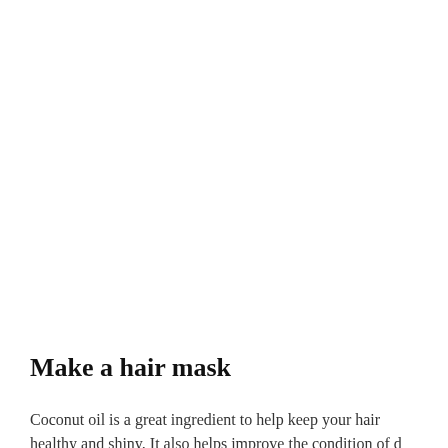Make a hair mask
Coconut oil is a great ingredient to help keep your hair healthy and shiny. It also helps improve the condition of d…